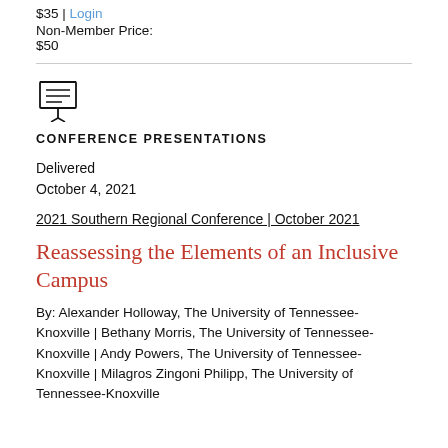$35 | Login
Non-Member Price:
$50
[Figure (illustration): Conference presentations icon: a presentation board/easel with lines representing text on it]
CONFERENCE PRESENTATIONS
Delivered
October 4, 2021
2021 Southern Regional Conference | October 2021
Reassessing the Elements of an Inclusive Campus
By: Alexander Holloway, The University of Tennessee-Knoxville | Bethany Morris, The University of Tennessee-Knoxville | Andy Powers, The University of Tennessee-Knoxville | Milagros Zingoni Philipp, The University of Tennessee-Knoxville